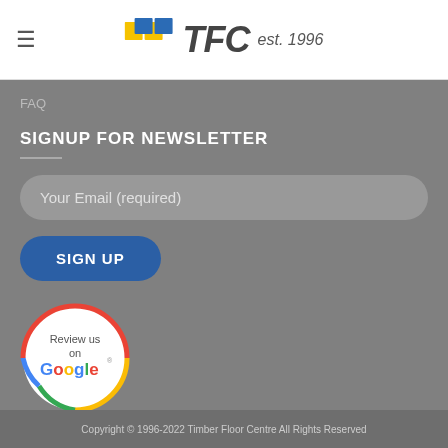TFC est. 1996
FAQ
SIGNUP FOR NEWSLETTER
Your Email (required)
SIGN UP
[Figure (logo): Review us on Google badge - circular badge with Google colors (red, blue, yellow, green) and text 'Review us on Google']
Copyright © 1996-2022 Timber Floor Centre All Rights Reserved